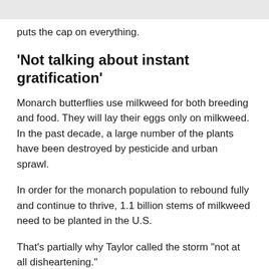puts the cap on everything.
'Not talking about instant gratification'
Monarch butterflies use milkweed for both breeding and food. They will lay their eggs only on milkweed. In the past decade, a large number of the plants have been destroyed by pesticide and urban sprawl.
In order for the monarch population to rebound fully and continue to thrive, 1.1 billion stems of milkweed need to be planted in the U.S.
That's partially why Taylor called the storm "not at all disheartening."